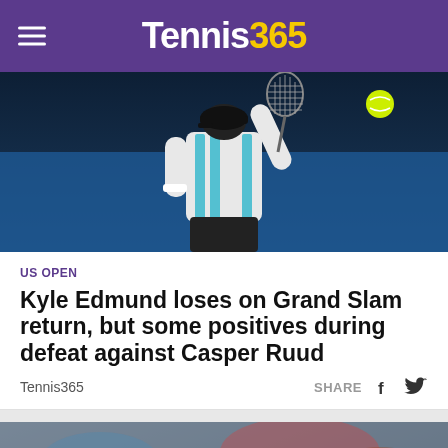Tennis365
[Figure (photo): Tennis player mid-action on blue hard court, viewed from behind, with a tennis ball visible in the upper right. Player wearing white and teal outfit.]
US OPEN
Kyle Edmund loses on Grand Slam return, but some positives during defeat against Casper Ruud
Tennis365
SHARE
[Figure (photo): Two tennis players shaking hands at the net on an outdoor hard court. Left player in white/red outfit, right player in green outfit. Blurred crowd in background.]